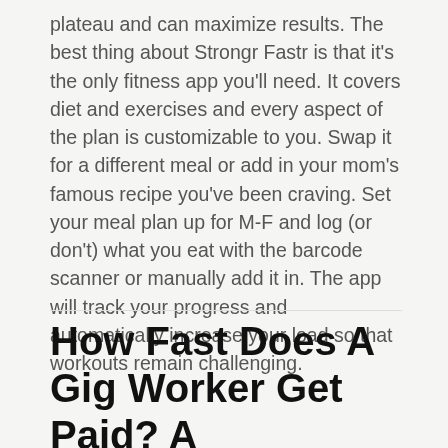plateau and can maximize results. The best thing about Strongr Fastr is that it's the only fitness app you'll need. It covers diet and exercises and every aspect of the plan is customizable to you. Swap it for a different meal or add in your mom's famous recipe you've been craving. Set your meal plan up for M-F and log (or don't) what you eat with the barcode scanner or manually add it in. The app will track your progress and automatically increase your load so that workouts remain challenging.
How Fast Does A Gig Worker Get Paid? A Breakdown By App